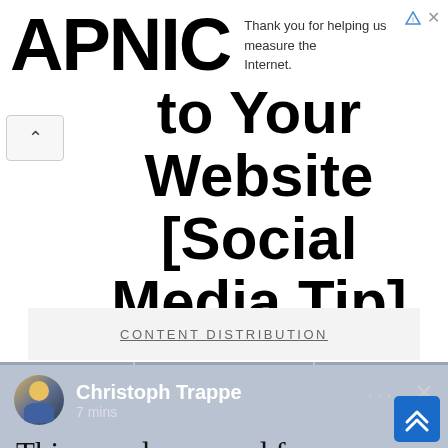APNIC — Thank you for helping us measure the Internet.
to Your Website [Social Media Tip]
CONTENT DISTRIBUTION
[Figure (screenshot): LinkedIn social post screenshot by Christoph Trappe posted 7 mins ago. Post begins: 'This grandma posed for photo on an iceberg —']
Christoph Trappe · 7 mins · This grandma posed for photo on an iceberg —